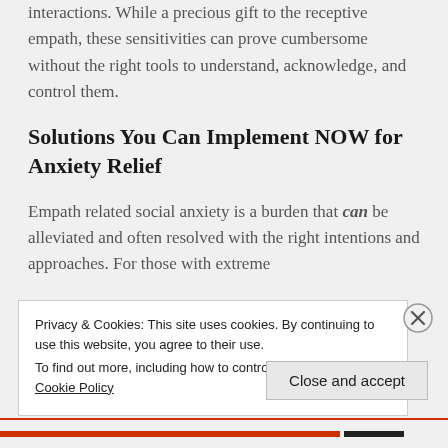interactions. While a precious gift to the receptive empath, these sensitivities can prove cumbersome without the right tools to understand, acknowledge, and control them.
Solutions You Can Implement NOW for Anxiety Relief
Empath related social anxiety is a burden that can be alleviated and often resolved with the right intentions and approaches. For those with extreme
Privacy & Cookies: This site uses cookies. By continuing to use this website, you agree to their use. To find out more, including how to control cookies, see here: Cookie Policy